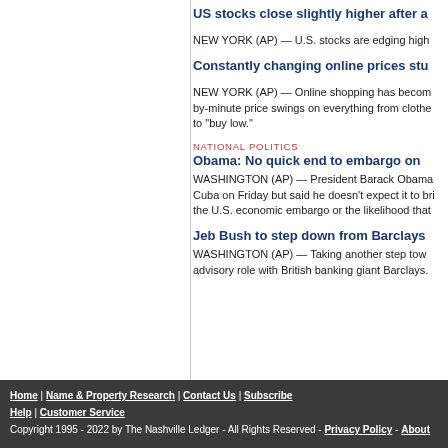US stocks close slightly higher after a
NEW YORK (AP) — U.S. stocks are edging high
Constantly changing online prices stu
NEW YORK (AP) — Online shopping has become more complex with minute-by-minute price swings on everything from clothes to "buy low."
NATIONAL POLITICS
Obama: No quick end to embargo on
WASHINGTON (AP) — President Barack Obama Cuba on Friday but said he doesn't expect it to bring an end to the U.S. economic embargo or the likelihood that
Jeb Bush to step down from Barclays
WASHINGTON (AP) — Taking another step toward advisory role with British banking giant Barclays.
Home | Name & Property Research | Contact Us | Subscribe
Help | Customer Service
Copyright 1995 - 2022 by The Nashville Ledger - All Rights Reserved - Privacy Policy - About